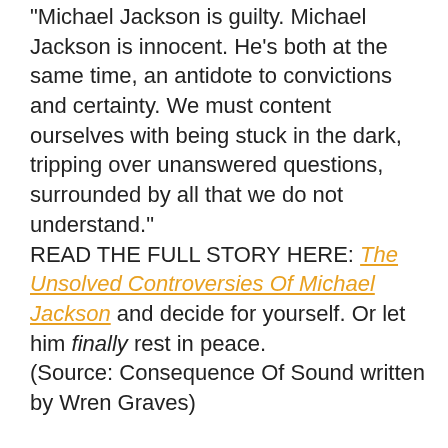“Michael Jackson is guilty. Michael Jackson is innocent. He’s both at the same time, an antidote to convictions and certainty. We must content ourselves with being stuck in the dark, tripping over unanswered questions, surrounded by all that we do not understand.” READ THE FULL STORY HERE: The Unsolved Controversies Of Michael Jackson and decide for yourself. Or let him finally rest in peace. (Source: Consequence Of Sound written by Wren Graves)